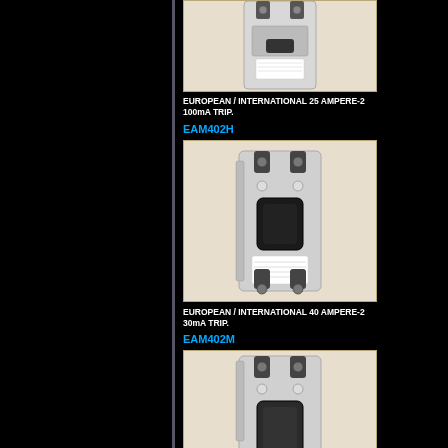[Figure (photo): Circuit breaker / RCD device - European/International 25 Ampere type]
EUROPEAN / INTERNATIONAL 25 AMPERE-2 100mA TRIP.
EAM402H
[Figure (photo): Circuit breaker / RCD device EAM402H - European/International 40 Ampere type]
EUROPEAN / INTERNATIONAL 40 AMPERE-2 30mA TRIP.
EAM402M
[Figure (photo): Circuit breaker / RCD device EAM402M - European/International type]